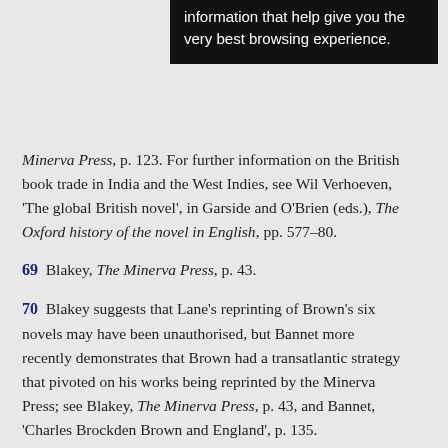[Figure (screenshot): Black popup overlay with white text: 'information that help give you the very best browsing experience.']
Minerva Press, p. 123. For further information on the British book trade in India and the West Indies, see Wil Verhoeven, ‘The global British novel’, in Garside and O’Brien (eds.), The Oxford history of the novel in English, pp. 577–80.
69  Blakey, The Minerva Press, p. 43.
70  Blakey suggests that Lane’s reprinting of Brown’s six novels may have been unauthorised, but Bannet more recently demonstrates that Brown had a transatlantic strategy that pivoted on his works being reprinted by the Minerva Press; see Blakey, The Minerva Press, p. 43, and Bannet, ‘Charles Brockden Brown and England’, p. 135.
71  Blakey, The Minerva Press, pp. 44,